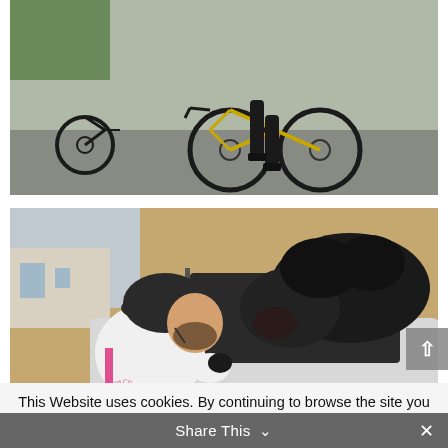[Figure (photo): Cyclists on a road with bicycles visible, outdoor setting on pavement/tarmac. Partial view showing legs and bicycles.]
[Figure (photo): A cyclist wearing a white jersey and black helmet leans in close to a large black fluffy dog hanging out of a car window. The cyclist appears to be kissing or nuzzling the dog.]
This Website uses cookies. By continuing to browse the site you are agreeing to our use of cookies.
Accept
Find out more
Share This